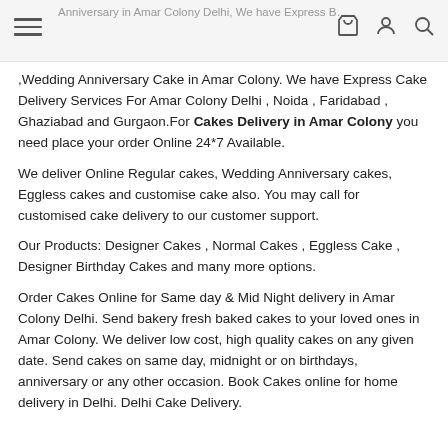Anniversary in Amar Colony Delhi. We have Express Birthday Midnight Cake Delivery. We make cakes for birthdays, anniversaries...
,Wedding Anniversary Cake in Amar Colony. We have Express Cake Delivery Services For Amar Colony Delhi , Noida , Faridabad , Ghaziabad and Gurgaon.For Cakes Delivery in Amar Colony you need place your order Online 24*7 Available.
We deliver Online Regular cakes, Wedding Anniversary cakes, Eggless cakes and customise cake also. You may call for customised cake delivery to our customer support.
Our Products: Designer Cakes , Normal Cakes , Eggless Cake , Designer Birthday Cakes and many more options.
Order Cakes Online for Same day & Mid Night delivery in Amar Colony Delhi. Send bakery fresh baked cakes to your loved ones in Amar Colony. We deliver low cost, high quality cakes on any given date. Send cakes on same day, midnight or on birthdays, anniversary or any other occasion. Book Cakes online for home delivery in Delhi. Delhi Cake Delivery.